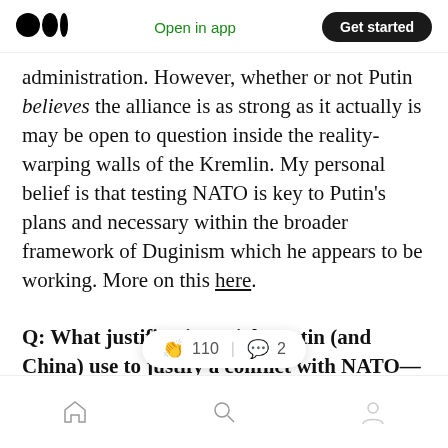Medium app header with logo, Open in app link, and Get started button
administration. However, whether or not Putin believes the alliance is as strong as it actually is may be open to question inside the reality-warping walls of the Kremlin. My personal belief is that testing NATO is key to Putin's plans and necessary within the broader framework of Duginism which he appears to be working. More on this here.
Q: What justification might Putin (and China) use to justify a conflict with NATO—likely by some kind of ol proxy" or by
Bottom navigation bar with home, search, and profile icons